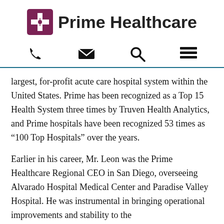[Figure (logo): Prime Healthcare logo: dark red/maroon square with white cross and caduceus symbol, followed by bold text 'Prime Healthcare']
[Figure (infographic): Navigation icon bar with four icons: phone (handset), envelope (email), magnifying glass (search), and hamburger menu (three horizontal lines)]
largest, for-profit acute care hospital system within the United States. Prime has been recognized as a Top 15 Health System three times by Truven Health Analytics, and Prime hospitals have been recognized 53 times as “100 Top Hospitals” over the years.
Earlier in his career, Mr. Leon was the Prime Healthcare Regional CEO in San Diego, overseeing Alvarado Hospital Medical Center and Paradise Valley Hospital. He was instrumental in bringing operational improvements and stability to the